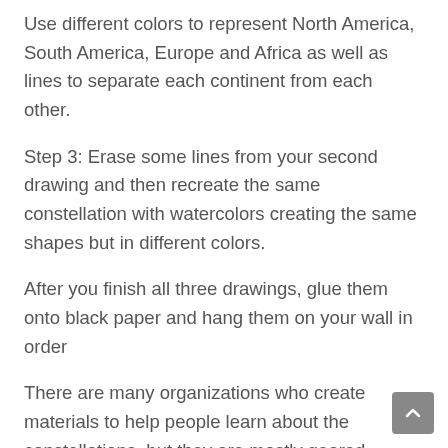Use different colors to represent North America, South America, Europe and Africa as well as lines to separate each continent from each other.
Step 3: Erase some lines from your second drawing and then recreate the same constellation with watercolors creating the same shapes but in different colors.
After you finish all three drawings, glue them onto black paper and hang them on your wall in order
There are many organizations who create materials to help people learn about the constellations, but they are mostly geared toward adults. There are few resources available for children. So I decided to